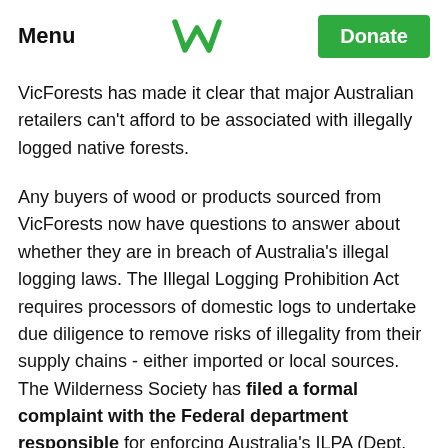Menu | [Wilderness Society logo] | Donate
need to be aware that their customers be need be purchasing illegally harvested wood. Bunn... recent decision regarding halting sourcing f...
VicForests has made it clear that major Australian retailers can't afford to be associated with illegally logged native forests.
Any buyers of wood or products sourced from VicForests now have questions to answer about whether they are in breach of Australia's illegal logging laws. The Illegal Logging Prohibition Act requires processors of domestic logs to undertake due diligence to remove risks of illegality from their supply chains - either imported or local sources. The Wilderness Society has filed a formal complaint with the Federal department responsible for enforcing Australia's ILPA (Dept. Agriculture, Water & Environment), in what is set to be the first significant test of the legislation.